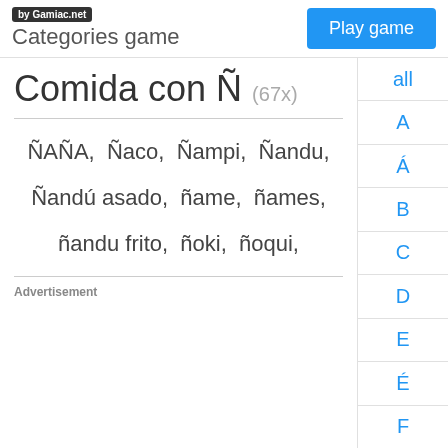by Gamiac.net  Categories game  Play game
Comida con Ñ (67x)
ÑAÑA, Ñaco, Ñampi, Ñandu, Ñandú asado, ñame, ñames, ñandu frito, ñoki, ñoqui,
Advertisement
all
A
Á
B
C
D
E
É
F